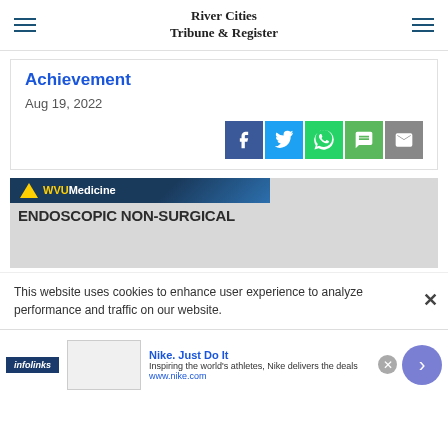River Cities Tribune & Register
Achievement
Aug 19, 2022
[Figure (infographic): Social share buttons: Facebook, Twitter, WhatsApp, SMS, Email]
[Figure (infographic): WVU Medicine advertisement banner: ENDOSCOPIC NON-SURGICAL]
This website uses cookies to enhance user experience to analyze performance and traffic on our website.
[Figure (infographic): Infolinks bar and Nike ad: Nike. Just Do It — Inspiring the world's athletes, Nike delivers the deals www.nike.com]